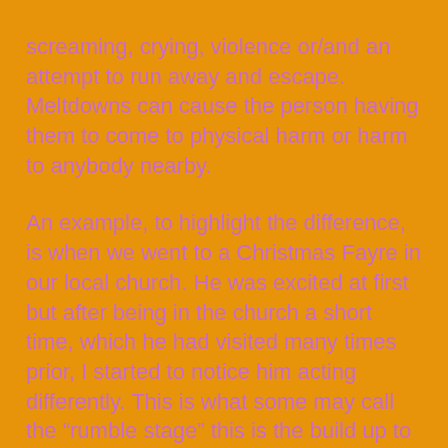screaming, crying, violence or/and an attempt to run away and escape. Meltdowns can cause the person having them to come to physical harm or harm to anybody nearby.
An example, to highlight the difference, is when we went to a Christmas Fayre in our local church. He was excited at first but after being in the church a short time, which he had visited many times prior, I started to notice him acting differently. This is what some may call the “rumble stage” this is the build up to a meltdown. If you are able to spot these signs in your autistic child then you may be able to help prevent a meltdown by using reassurance, calming strategies that the child responds to and removing the child from the